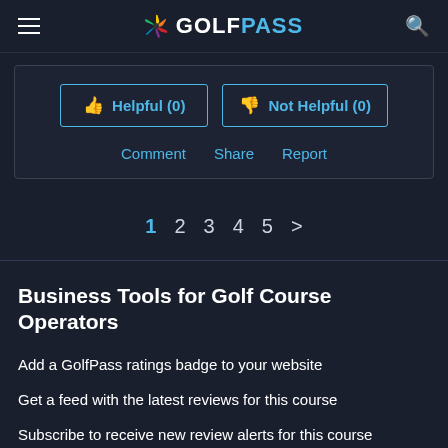GOLFPASS
[Figure (screenshot): Helpful (0) and Not Helpful (0) buttons with Comment, Share, Report links below]
1  2  3  4  5  >
Business Tools for Golf Course Operators
Add a GolfPass ratings badge to your website
Get a feed with the latest reviews for this course
Subscribe to receive new review alerts for this course